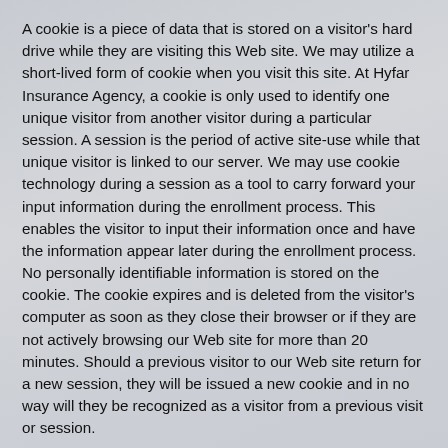A cookie is a piece of data that is stored on a visitor's hard drive while they are visiting this Web site. We may utilize a short-lived form of cookie when you visit this site. At Hyfar Insurance Agency, a cookie is only used to identify one unique visitor from another visitor during a particular session. A session is the period of active site-use while that unique visitor is linked to our server. We may use cookie technology during a session as a tool to carry forward your input information during the enrollment process. This enables the visitor to input their information once and have the information appear later during the enrollment process. No personally identifiable information is stored on the cookie. The cookie expires and is deleted from the visitor's computer as soon as they close their browser or if they are not actively browsing our Web site for more than 20 minutes. Should a previous visitor to our Web site return for a new session, they will be issued a new cookie and in no way will they be recognized as a visitor from a previous visit or session.
Third Party Links
This Web site may contain links to third party Web sites that are not controlled by or managed as part of this site, and as such...